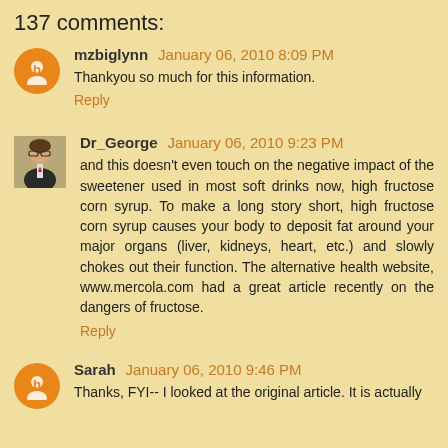137 comments:
mzbiglynn January 06, 2010 8:09 PM
Thankyou so much for this information.
Reply
Dr_George January 06, 2010 9:23 PM
and this doesn't even touch on the negative impact of the sweetener used in most soft drinks now, high fructose corn syrup. To make a long story short, high fructose corn syrup causes your body to deposit fat around your major organs (liver, kidneys, heart, etc.) and slowly chokes out their function. The alternative health website, www.mercola.com had a great article recently on the dangers of fructose.
Reply
Sarah January 06, 2010 9:46 PM
Thanks, FYI-- I looked at the original article. It is actually